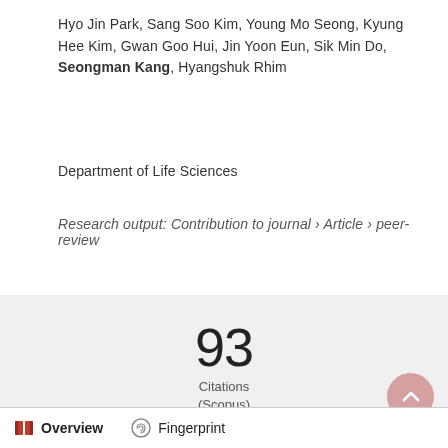Hyo Jin Park, Sang Soo Kim, Young Mo Seong, Kyung Hee Kim, Gwan Goo Hui, Jin Yoon Eun, Sik Min Do, Seongman Kang, Hyangshuk Rhim
Department of Life Sciences
Research output: Contribution to journal › Article › peer-review
93
Citations
(Scopus)
[Figure (logo): Altmetric butterfly logo with orange, green, and purple circles]
Overview   Fingerprint